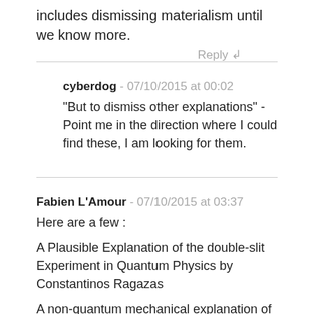includes dismissing materialism until we know more.
Reply ↲
cyberdog - 07/10/2015 at 00:02
"But to dismiss other explanations" - Point me in the direction where I could find these, I am looking for them.
Fabien L'Amour - 07/10/2015 at 03:37
Here are a few :
A Plausible Explanation of the double-slit Experiment in Quantum Physics by Constantinos Ragazas
A non-quantum mechanical explanation of the single photon double slit experiment. Karl Otto